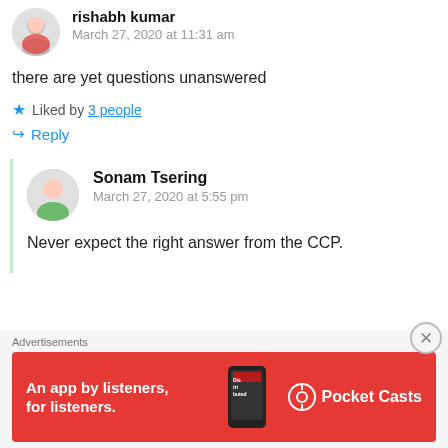rishabh kumar
March 27, 2020 at 11:31 am
there are yet questions unanswered
Liked by 3 people
Reply
Sonam Tsering
March 27, 2020 at 5:55 pm
Never expect the right answer from the CCP.
Advertisements
[Figure (infographic): Pocket Casts app advertisement banner with red background, phone image, and text 'An app by listeners, for listeners.']